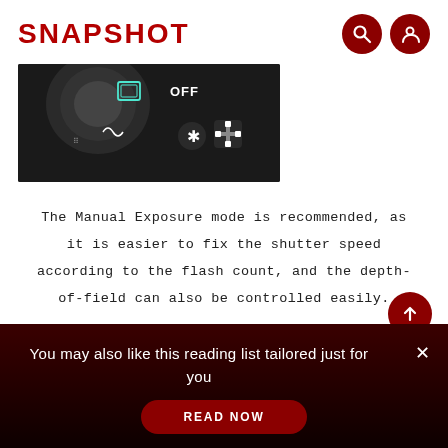SNAPSHOT
[Figure (photo): Close-up photo of a camera body showing dials and buttons including OFF switch, asterisk button, and AF point selector button on a dark background]
The Manual Exposure mode is recommended, as it is easier to fix the shutter speed according to the flash count, and the depth-of-field can also be controlled easily.
You may also like this reading list tailored just for you
READ NOW